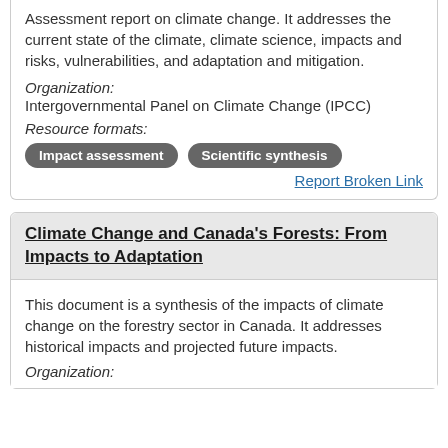Assessment report on climate change. It addresses the current state of the climate, climate science, impacts and risks, vulnerabilities, and adaptation and mitigation.
Organization:
Intergovernmental Panel on Climate Change (IPCC)
Resource formats:
Impact assessment   Scientific synthesis
Report Broken Link
Climate Change and Canada's Forests: From Impacts to Adaptation
This document is a synthesis of the impacts of climate change on the forestry sector in Canada. It addresses historical impacts and projected future impacts.
Organization: